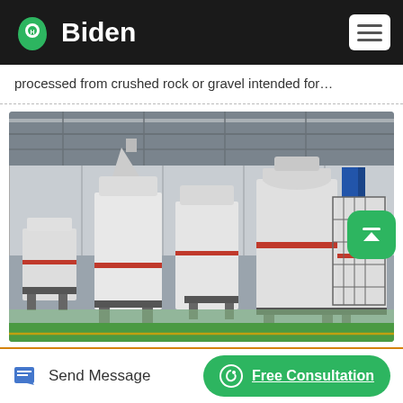Biden
processed from crushed rock or gravel intended for…
[Figure (photo): Industrial factory interior showing multiple white heavy crushing/milling machines lined up on a green-striped concrete floor inside a large warehouse/factory building]
Send Message
Free Consultation